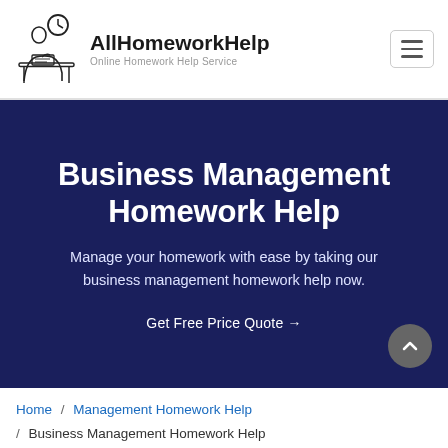[Figure (logo): AllHomeworkHelp logo with illustration of student at desk with clock]
Business Management Homework Help
Manage your homework with ease by taking our business management homework help now.
Get Free Price Quote →
Home / Management Homework Help / Business Management Homework Help